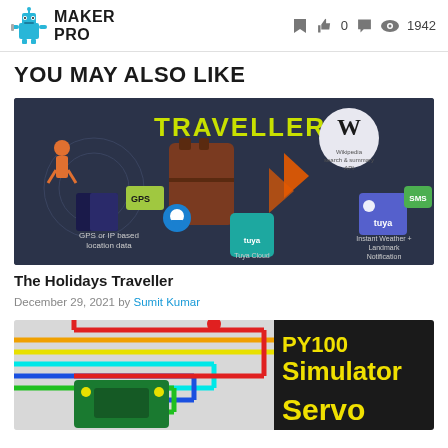MAKER PRO — 0 likes, 1942 views
YOU MAY ALSO LIKE
[Figure (illustration): The Holidays Traveller article thumbnail showing traveller with suitcase, Raspberry Pi, GPS module, Wikipedia API logo, Tuya Cloud icons, and weather notification graphics on dark background]
The Holidays Traveller
December 29, 2021 by Sumit Kumar
[Figure (screenshot): Second article thumbnail showing circuit wiring diagram with colored wires (red, cyan, blue, green, orange, yellow) connected to a green PCB board, with yellow text reading 'PY100 Simulator' and 'Servo' on dark background]